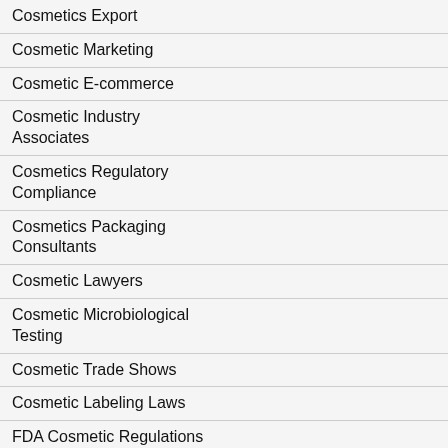Cosmetics Export
Cosmetic Marketing
Cosmetic E-commerce
Cosmetic Industry Associates
Cosmetics Regulatory Compliance
Cosmetics Packaging Consultants
Cosmetic Lawyers
Cosmetic Microbiological Testing
Cosmetic Trade Shows
Cosmetic Labeling Laws
FDA Cosmetic Regulations
FDA Cosmetic Labeling
Cosmetic Formulas
Cosmetics Business Plans
Cosmetic Distribution
sa
co
ex
te
te
ch
an
Fe
IS
ce
m
ac
pr
Fr
Eu
[Figure (other): Purple/mauve colored rectangular banner area at bottom right]